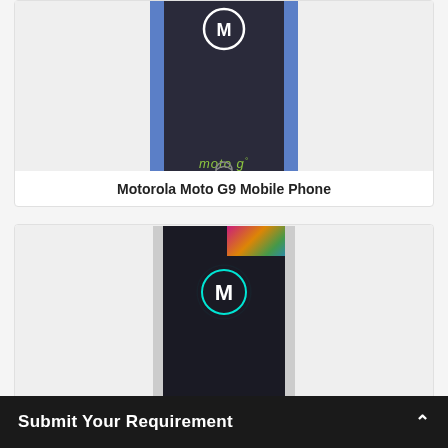[Figure (photo): Photo of the back of a Motorola Moto G9 mobile phone box showing the Motorola M logo at top and 'moto g' branding in green, on a blue background]
Motorola Moto G9 Mobile Phone
[Figure (photo): Photo of the front of a Motorola Moto G9 mobile phone box, black with a glowing teal Motorola M logo and 'moto g' text, with colorful packaging visible behind]
Submit Your Requirement